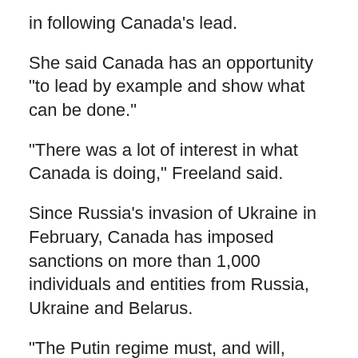in following Canada's lead.
She said Canada has an opportunity "to lead by example and show what can be done."
"There was a lot of interest in what Canada is doing," Freeland said.
Since Russia's invasion of Ukraine in February, Canada has imposed sanctions on more than 1,000 individuals and entities from Russia, Ukraine and Belarus.
"The Putin regime must, and will, answer for their unjustifiable acts," said Joly.
"Canada, together with our allies, will be relentless in our efforts to maintain pressure on the Russian regime, until it is no longer able to